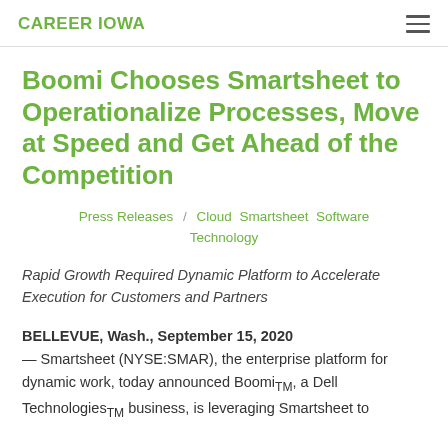CAREER IOWA
Boomi Chooses Smartsheet to Operationalize Processes, Move at Speed and Get Ahead of the Competition
Press Releases / Cloud Smartsheet Software Technology
Rapid Growth Required Dynamic Platform to Accelerate Execution for Customers and Partners
BELLEVUE, Wash., September 15, 2020 — Smartsheet (NYSE:SMAR), the enterprise platform for dynamic work, today announced Boomi™, a Dell Technologies™ business, is leveraging Smartsheet to